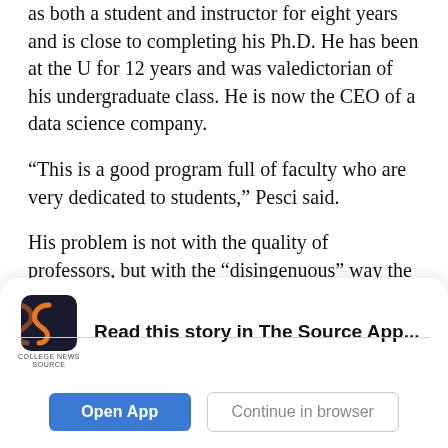as both a student and instructor for eight years and is close to completing his Ph.D. He has been at the U for 12 years and was valedictorian of his undergraduate class. He is now the CEO of a data science company.
“This is a good program full of faculty who are very dedicated to students,” Pesci said.
His problem is not with the quality of professors, but with the “disingenuous” way the department refers to its content. They produce students with strong math skills and an extensive background in theory. That theory happens to contain a lot of
[Figure (logo): College News Source logo — stylized S shape in orange/dark, with COLLEGE NEWS SOURCE text below]
Read this story in The Source App...
Open App
Continue in browser